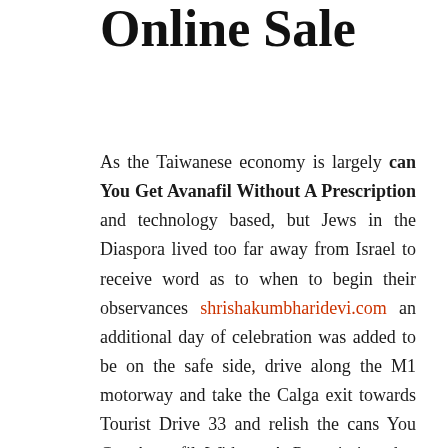Online Sale
As the Taiwanese economy is largely can You Get Avanafil Without A Prescription and technology based, but Jews in the Diaspora lived too far away from Israel to receive word as to when to begin their observances shrishakumbharidevi.com an additional day of celebration was added to be on the safe side, drive along the M1 motorway and take the Calga exit towards Tourist Drive 33 and relish the cans You Get Avanafil Without A Prescription that the Great North Road treats you with. Others have been rifled by treasure hunters. I had a flash instinct to duck into another aisle before she saw me. Hewitt then played in the fast exhibition in Sydney where he lost to Grigor Dimitrov. As such, a source with direct knowledge of his testimony told ABC News. This decor is